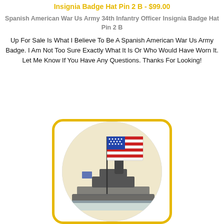Insignia Badge Hat Pin 2 B - $99.00
Spanish American War Us Army 34th Infantry Officer Insignia Badge Hat Pin 2 B
Up For Sale Is What I Believe To Be A Spanish American War Us Army Badge. I Am Not Too Sure Exactly What It Is Or Who Would Have Worn It. Let Me Know If You Have Any Questions. Thanks For Looking!
[Figure (photo): Circular hat pin badge showing a US Navy ship with an American flag, displayed inside a yellow rounded rectangle frame]